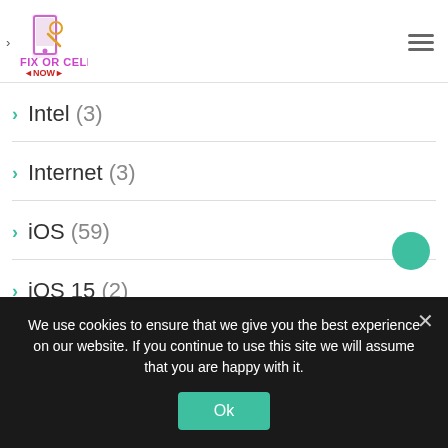Fix Or Cell Now — navigation header with logo and hamburger menu
Intel (3)
Internet (3)
iOS (59)
iOS 15 (2)
iPad (6)
iPad 9 (1)
We use cookies to ensure that we give you the best experience on our website. If you continue to use this site we will assume that you are happy with it.